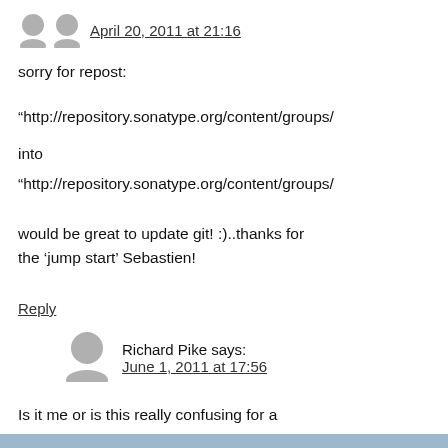April 20, 2011 at 21:16
sorry for repost:

“http://repository.sonatype.org/content/groups/…” into “http://repository.sonatype.org/content/groups/…”

would be great to update git! :)..thanks for the ‘jump start’ Sebastien!
Reply
Richard Pike says:
June 1, 2011 at 17:56
Is it me or is this really confusing for a beginner?